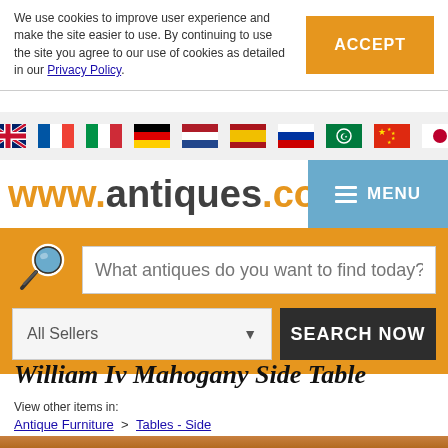We use cookies to improve user experience and make the site easier to use. By continuing to use the site you agree to our use of cookies as detailed in our Privacy Policy.
ACCEPT
[Figure (infographic): Row of country flag icons: UK, France, Italy, Germany, Netherlands, Spain, Russia, Arabic, China, Japan]
www.antiques.co.uk
MENU
What antiques do you want to find today?
All Sellers
SEARCH NOW
William Iv Mahogany Side Table
View other items in:
Antique Furniture > Tables - Side